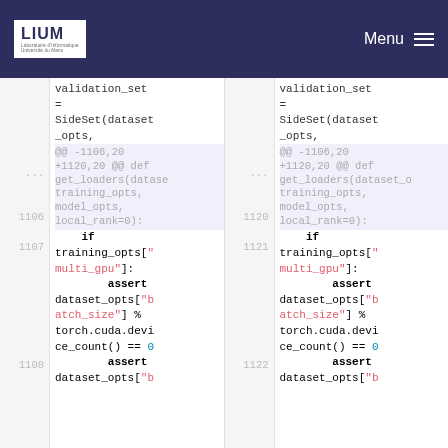LIUM — Menu
[Figure (screenshot): Code diff view showing two-panel side-by-side diff of Python source code. Left panel shows lines around 1106-1108 and right panel shows lines 1120-1122. Code includes validation_set = SideSet(dataset_opts, followed by a hunk header, then if training_opts['multi_gpu']: assert dataset_opts['batch_size'] % torch.cuda.device_count() == 0, assert dataset_opts['b...]